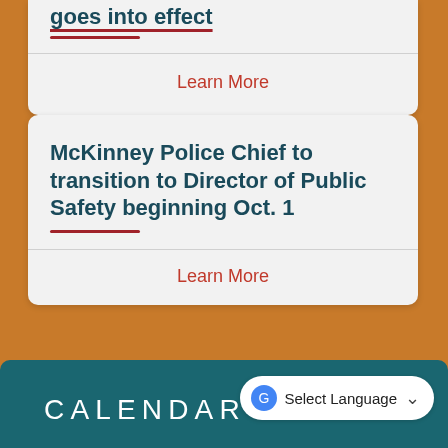goes into effect
Learn More
McKinney Police Chief to transition to Director of Public Safety beginning Oct. 1
Learn More
View All News
CALENDAR